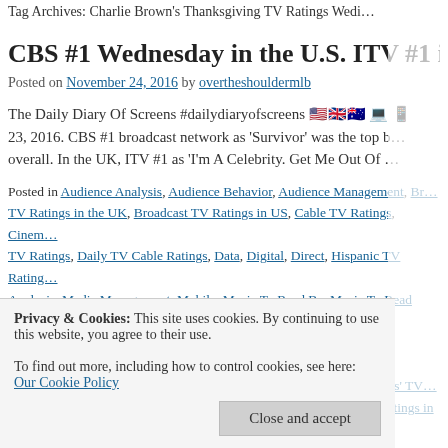Tag Archives: Charlie Brown's Thanksgiving TV Ratings Wedn…
CBS #1 Wednesday in the U.S. ITV #1 in t…
Posted on November 24, 2016 by overtheshouldermlb
The Daily Diary Of Screens #dailydiaryofscreens 🇺🇸🇬🇧🇦🇺💻📱 23, 2016. CBS #1 broadcast network as 'Survivor' was the top b… overall. In the UK, ITV #1 as 'I'm A Celebrity. Get Me Out Of …
Posted in Audience Analysis, Audience Behavior, Audience Management, Br… TV Ratings in the UK, Broadcast TV Ratings in US, Cable TV Ratings, Cinem… TV Ratings, Daily TV Cable Ratings, Data, Digital, Direct, Hispanic TV Rating… Analysis, Media Management, Mobile, Music To Read By, Music To Read ove… Renewals, Television Ratings, Today In TV History, Uncategorized, Wednesd… Tagged #dailydiaryofscreens., ',  '10 To 1: Countdown Our Greatest News' TV in A&E' TV Ratings in Australia Wednesday, '24 Hours in A&E' TV Ratings in … Ratings in Australia Wednesday 112316, 'A Current Affair' TV Ratings Wedne… 'Rosehaven' TV Ratings in Australia Wednesday, 'Seven News' #1 newscast…
Privacy & Cookies: This site uses cookies. By continuing to use this website, you agree to their use.
To find out more, including how to control cookies, see here: Our Cookie Policy
Close and accept